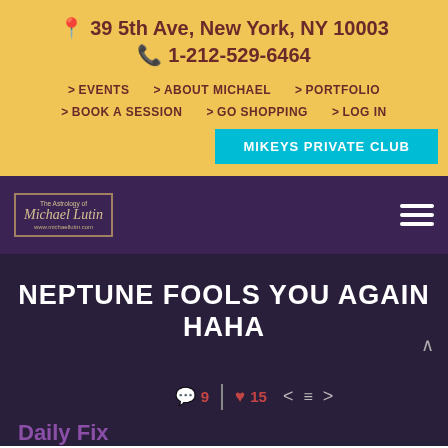📍 39 5th Ave, New York, NY 10003
📞 1-212-529-6464
> EVENTS  > ABOUT MICHAEL  > PORTFOLIO
> BOOK A SESSION  > GO SHOPPING  > LOG IN
MIKEYS PRIVATE CLUB
[Figure (logo): The Astrology of Michael Lutin logo with cursive text and website url www.michaellutin.com in a rectangular border]
NEPTUNE FOOLS YOU AGAIN HAHA
💬 9  |  ❤ 15  < ≡ >
Daily Fix